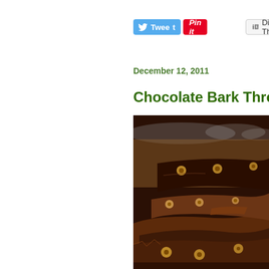[Figure (screenshot): Social sharing buttons: Tweet (blue Twitter button), Pin it (red Pinterest button), Digg This (grey Digg button)]
December 12, 2011
Chocolate Bark Three Ways
[Figure (photo): Close-up photograph of chocolate bark pieces with hazelnuts stacked on each other, dark and milk chocolate varieties visible]